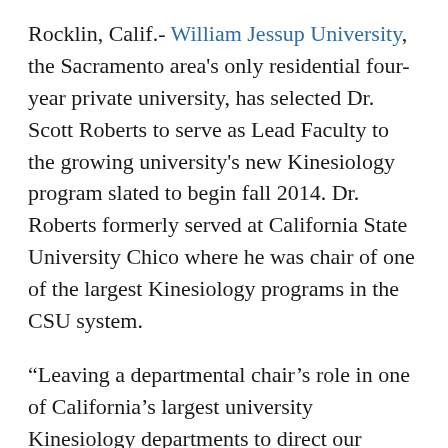Rocklin, Calif.- William Jessup University, the Sacramento area's only residential four-year private university, has selected Dr. Scott Roberts to serve as Lead Faculty to the growing university's new Kinesiology program slated to begin fall 2014. Dr. Roberts formerly served at California State University Chico where he was chair of one of the largest Kinesiology programs in the CSU system.
“Leaving a departmental chair’s role in one of California’s largest university Kinesiology departments to direct our program is strong evidence of Dr. Roberts’ calling and